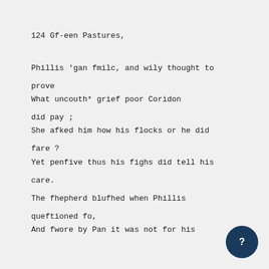124 Gf-een Pastures,
Phillis 'gan fmilc, and wily thought to prove
What uncouth* grief poor Coridon did pay ;
She afked him how his flocks or he did fare ?
Yet penfive thus his fighs did tell his care.
The fhepherd blufhed when Phillis queftioned fo,
And fwore by Pan it was not for his